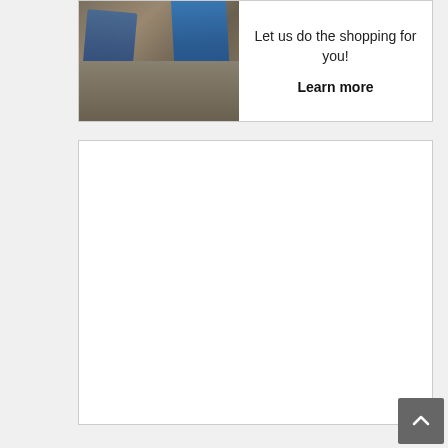[Figure (illustration): Advertisement banner showing clothing (jeans and blue garments) hanging against a stone wall background]
Let us do the shopping for you!
Learn more
[Figure (other): Empty white content area / advertisement placeholder]